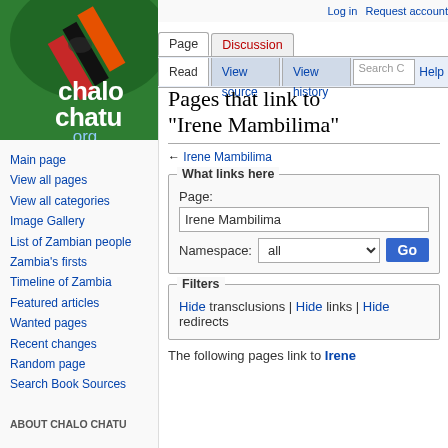[Figure (logo): Chalo Chatu .org logo with Zambian flag colors swirl in green, red, black, yellow]
Log in  Request account
Page  Discussion  Read  View source  View history  Search  Help
Main page
View all pages
View all categories
Image Gallery
List of Zambian people
Zambia's firsts
Timeline of Zambia
Featured articles
Wanted pages
Recent changes
Random page
Search Book Sources
ABOUT CHALO CHATU
Pages that link to "Irene Mambilima"
← Irene Mambilima
What links here
Page: Irene Mambilima Namespace: all
Filters
Hide transclusions | Hide links | Hide redirects
The following pages link to Irene